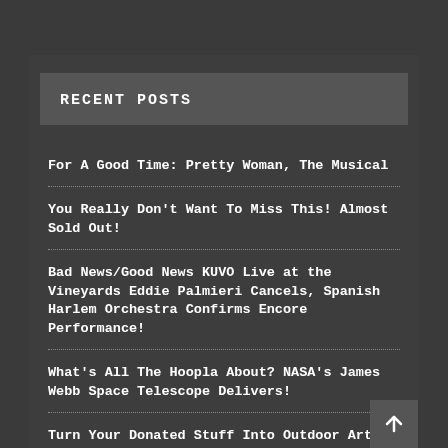RECENT POSTS
For A Good Time: Pretty Woman, The Musical
You Really Don't Want To Miss This! Almost Sold Out!
Bad News/Good News KUVO Live at the Vineyards Eddie Palmieri Cancels, Spanish Harlem Orchestra Confirms Encore Performance!
What's All The Hoopla About? NASA's James Webb Space Telescope Delivers!
Turn Your Donated Stuff Into Outdoor Art! Open Call For Objects